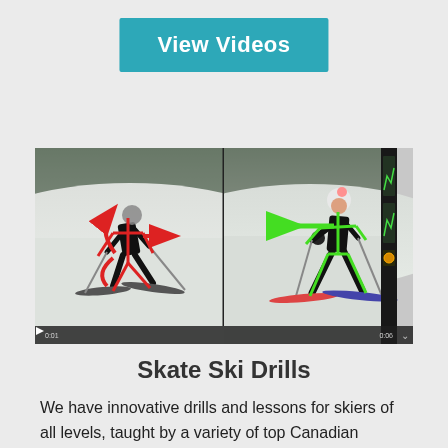View Videos
[Figure (screenshot): Side-by-side video screenshot showing two cross-country skiers with motion annotation overlays: left panel shows a skier with red skeletal lines and red arrows indicating movement directions; right panel shows a skier with green skeletal lines and a green arrow pointing left.]
Skate Ski Drills
We have innovative drills and lessons for skiers of all levels, taught by a variety of top Canadian athletes